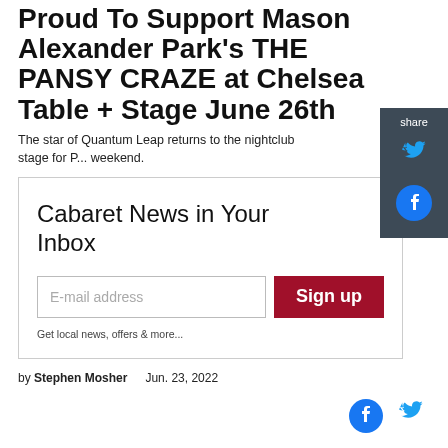Proud To Support Mason Alexander Park's THE PANSY CRAZE at Chelsea Table + Stage June 26th
The star of Quantum Leap returns to the nightclub stage for P... weekend.
Cabaret News in Your Inbox
E-mail address
Sign up
Get local news, offers & more...
by Stephen Mosher    Jun. 23, 2022